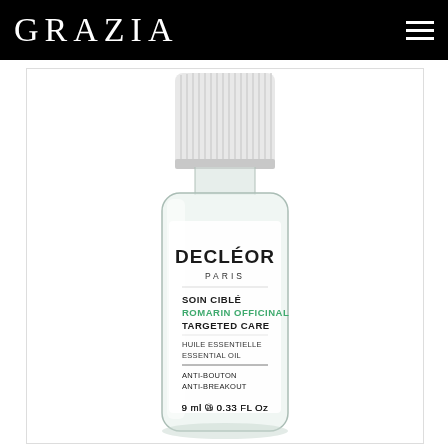GRAZIA
[Figure (photo): Decléor Paris Soin Ciblé Romarin Officinal Targeted Care Essential Oil Anti-Breakout product bottle, 9ml / 0.33 FL Oz, glass bottle with white ribbed cap on white background]